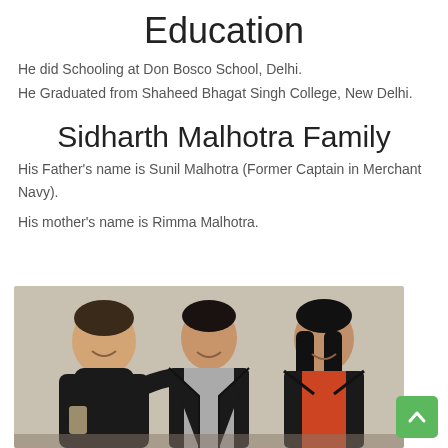Education
He did Schooling at Don Bosco School, Delhi.
He Graduated from Shaheed Bhagat Singh College, New Delhi.
Sidharth Malhotra Family
His Father's name is Sunil Malhotra (Former Captain in Merchant Navy).
His mother's name is Rimma Malhotra.
[Figure (photo): Family photo of Sidharth Malhotra with his father (left, wearing black turtleneck, holding a glass) and mother (right, wearing black jacket with orange top), all smiling, seated indoors against a light wall. A green scroll-to-top button is visible in the bottom-right corner.]